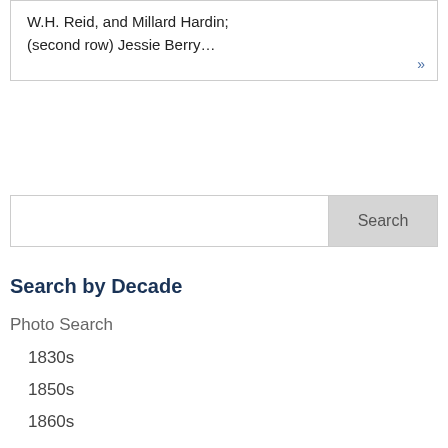W.H. Reid, and Millard Hardin; (second row) Jessie Berry…  »
Search
Search by Decade
Photo Search
1830s
1850s
1860s
1870s
1880s